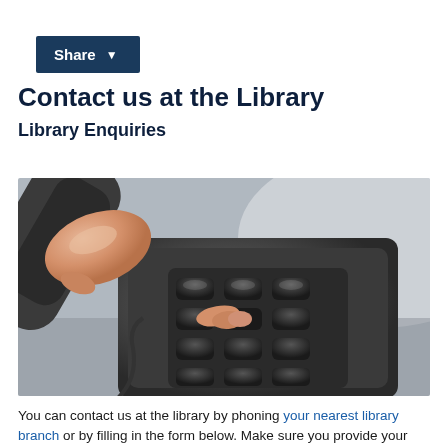Share
Contact us at the Library
Library Enquiries
[Figure (photo): Close-up photograph of a person's hand pressing buttons on a telephone keypad while holding a phone handset]
You can contact us at the library by phoning your nearest library branch or by filling in the form below. Make sure you provide your contact details and we will reply within